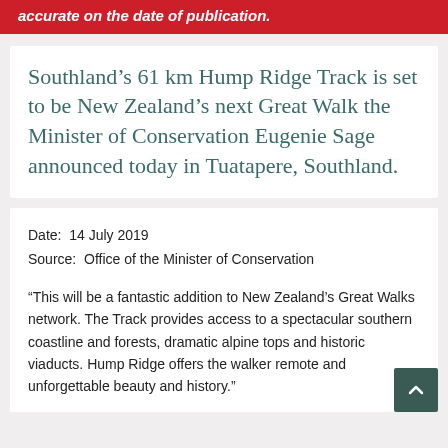accurate on the date of publication.
Southland’s 61 km Hump Ridge Track is set to be New Zealand’s next Great Walk the Minister of Conservation Eugenie Sage announced today in Tuatapere, Southland.
Date:  14 July 2019
Source:  Office of the Minister of Conservation
“This will be a fantastic addition to New Zealand’s Great Walks network. The Track provides access to a spectacular southern coastline and forests, dramatic alpine tops and historic viaducts. Hump Ridge offers the walker remote and unforgettable beauty and history.”